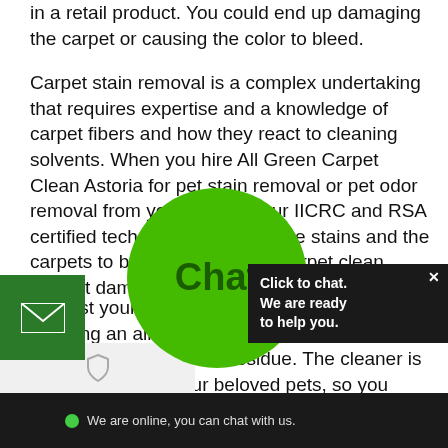in a retail product. You could end up damaging the carpet or causing the color to bleed.
Carpet stain removal is a complex undertaking that requires expertise and a knowledge of carpet fibers and how they react to cleaning solvents. When you hire All Green Carpet Clean Astoria for pet stain removal or pet odor removal from your carpets, our IICRC and RSA certified technicians examine the stains and the carpets to be sure we get the carpet clean without damage.
We test your carpet for colorfastness before applying an all natural organic cleaner that dissolves the biological residue. The cleaner is safe for you and your beloved pets, so you don't have to worry about chemicals or fumes.
[Figure (screenshot): Live chat widget overlay showing a green circle with 'Chat' text, a dark popup box saying 'Click to chat. We are ready to help you.' with an X close button, a green email button on the left, and a bottom bar saying 'We are online, you can chat with us.' with a green dot.]